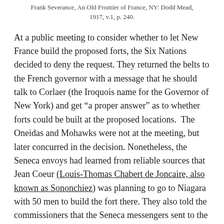Frank Severance, An Old Frontier of France, NY: Dodd Mead, 1917, v.1, p. 240.
At a public meeting to consider whether to let New France build the proposed forts, the Six Nations decided to deny the request. They returned the belts to the French governor with a message that he should talk to Corlaer (the Iroquois name for the Governor of New York) and get “a proper answer” as to whether forts could be built at the proposed locations.  The Oneidas and Mohawks were not at the meeting, but later concurred in the decision. Nonetheless, the Seneca envoys had learned from reliable sources that Jean Coeur (Louis-Thomas Chabert de Joncaire, also known as Sononchiez) was planning to go to Niagara with 50 men to build the fort there. They also told the commissioners that the Seneca messengers sent to the far nations to invite them to come trade at Albany were expected back in a few days. They had conveyed the message, but did